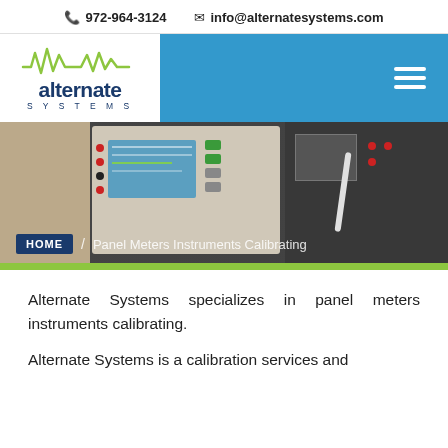📞 972-964-3124   ✉ info@alternatesystems.com
[Figure (logo): Alternate Systems logo with green wave graphic and dark blue text]
HOME / Panel Meters Instruments Calibrating
[Figure (photo): Photo of calibration instrument equipment including a Fluke multi-function calibrator with display screen and panel with connectors]
Alternate Systems specializes in panel meters instruments calibrating.
Alternate Systems is a calibration services and